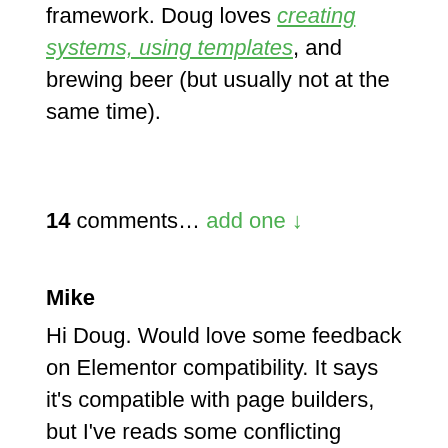framework. Doug loves creating systems, using templates, and brewing beer (but usually not at the same time).
14 comments… add one ↓
Mike
Hi Doug. Would love some feedback on Elementor compatibility. It says it's compatible with page builders, but I've reads some conflicting reports online. Have you had a chance to try it with Elementor? I'd buy it in a heartbeat if it's guaranteed to work.